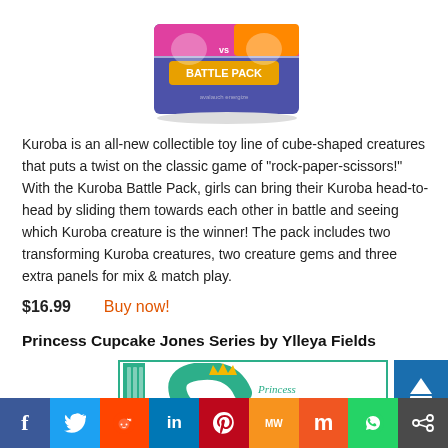[Figure (photo): Kuroba Battle Pack product image showing a pink/blue cube-shaped toy package with 'BATTLE PACK' text]
Kuroba is an all-new collectible toy line of cube-shaped creatures that puts a twist on the classic game of "rock-paper-scissors!" With the Kuroba Battle Pack, girls can bring their Kuroba head-to-head by sliding them towards each other in battle and seeing which Kuroba creature is the winner! The pack includes two transforming Kuroba creatures, two creature gems and three extra panels for mix & match play.
$16.99  Buy now!
Princess Cupcake Jones Series by Ylleya Fields
[Figure (photo): Princess Cupcake Jones book cover with teal/green swirling design and 'Princess' text visible]
Social sharing bar: Facebook, Twitter, Reddit, LinkedIn, Pinterest, MeWe, Mix, WhatsApp, Share